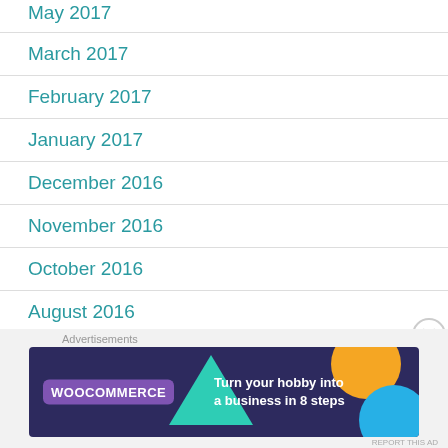May 2017
March 2017
February 2017
January 2017
December 2016
November 2016
October 2016
August 2016
July 2016
[Figure (illustration): WooCommerce advertisement banner: Turn your hobby into a business in 8 steps]